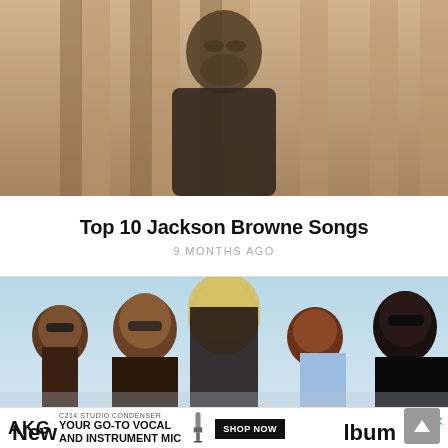[Figure (photo): Sepia-toned photo of an older man with beard and glasses walking under arched columns]
Top 10 Jackson Browne Songs
9 MONTHS AGO
[Figure (photo): Color photo of a rock band with five members including a blonde woman in center, men with sunglasses]
[Figure (photo): Advertisement banner: AKG C214 Studio Condenser microphone ad with text YOUR GO-TO VOCAL AND INSTRUMENT MIC with SHOP NOW button]
New